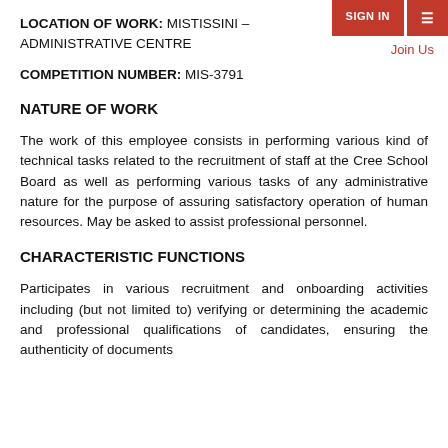LOCATION OF WORK: MISTISSINI – ADMINISTRATIVE CENTRE
SIGN IN  ☰  Join Us
COMPETITION NUMBER: MIS-3791
NATURE OF WORK
The work of this employee consists in performing various kind of technical tasks related to the recruitment of staff at the Cree School Board as well as performing various tasks of any administrative nature for the purpose of assuring satisfactory operation of human resources. May be asked to assist professional personnel.
CHARACTERISTIC FUNCTIONS
Participates in various recruitment and onboarding activities including (but not limited to) verifying or determining the academic and professional qualifications of candidates, ensuring the authenticity of documents